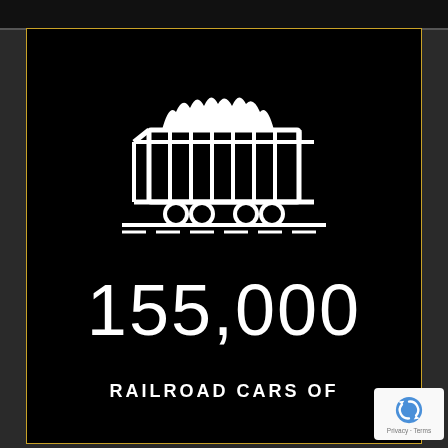[Figure (illustration): White icon of a coal or materials railroad hopper car on tracks, shown on a black background inside a gold-bordered card]
155,000
RAILROAD CARS OF